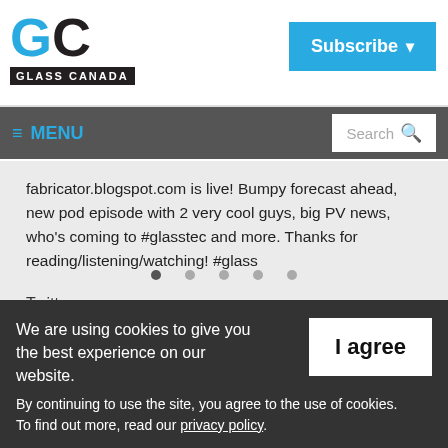[Figure (logo): GC Glass Canada logo with blue G and black C letters, black bar with white text GLASS CANADA]
[Figure (other): Subscribe button in blue with dropdown arrow]
≡ MENU   Search
fabricator.blogspot.com is live! Bumpy forecast ahead, new pod episode with 2 very cool guys, big PV news, who's coming to #glasstec and more. Thanks for reading/listening/watching! #glass
Twitter
We are using cookies to give you the best experience on our website. By continuing to use the site, you agree to the use of cookies. To find out more, read our privacy policy.